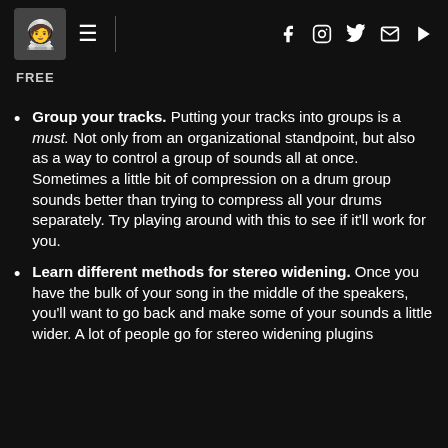[logo] ≡ | f IG tw ✉ ▶
FREE
Group your tracks. Putting your tracks into groups is a must. Not only from an organizational standpoint, but also as a way to control a group of sounds all at once. Sometimes a little bit of compression on a drum group sounds better than trying to compress all your drums separately. Try playing around with this to see if it'll work for you.
Learn different methods for stereo widening. Once you have the bulk of your song in the middle of the speakers, you'll want to go back and make some of your sounds a little wider. A lot of people go for stereo widening plugins